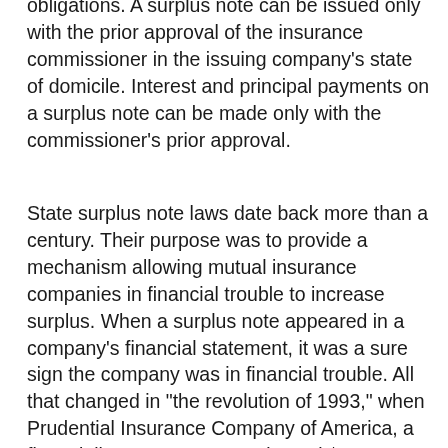obligations. A surplus note can be issued only with the prior approval of the insurance commissioner in the issuing company's state of domicile. Interest and principal payments on a surplus note can be made only with the commissioner's prior approval.
State surplus note laws date back more than a century. Their purpose was to provide a mechanism allowing mutual insurance companies in financial trouble to increase surplus. When a surplus note appeared in a company's financial statement, it was a sure sign the company was in financial trouble. All that changed in "the revolution of 1993," when Prudential Insurance Company of America, a financially strong company, issued $300 million of surplus notes to investors through a private offering. The offering was made for tax reasons because courts had ruled that interest payments on surplus notes are deductible for income tax purposes. Within a few years, most major insurance companies had issued large amounts of surplus notes.
TIAA was one of the few holdouts, but in 2009 it issued $2 billion of surplus notes to help finance the acquisition of